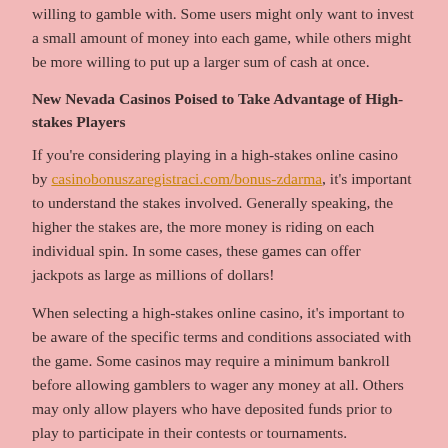willing to gamble with. Some users might only want to invest a small amount of money into each game, while others might be more willing to put up a larger sum of cash at once.
New Nevada Casinos Poised to Take Advantage of High-stakes Players
If you're considering playing in a high-stakes online casino by casinobonuszaregistraci.com/bonus-zdarma, it's important to understand the stakes involved. Generally speaking, the higher the stakes are, the more money is riding on each individual spin. In some cases, these games can offer jackpots as large as millions of dollars!
When selecting a high-stakes online casino, it's important to be aware of the specific terms and conditions associated with the game. Some casinos may require a minimum bankroll before allowing gamblers to wager any money at all. Others may only allow players who have deposited funds prior to play to participate in their contests or tournaments.
Regardless of how high the stakes are, always make sure you fully understand your gambling options and risks before making any decisions.
Keno
Some basics about online keno include that it is a game of chance where players select numbers from 1 to 50 and try to match them with the corresponding numbers on the betting slip. If a player matches all